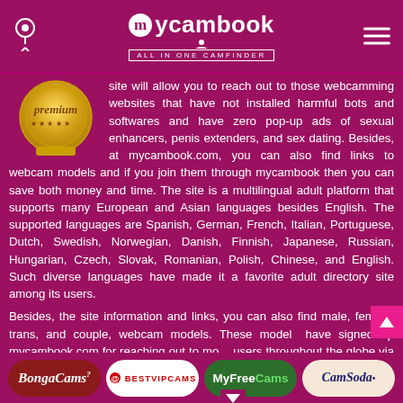mycambook — ALL IN ONE CAMFINDER
[Figure (logo): mycambook logo with person icon and tagline ALL IN ONE CAMFINDER on magenta background]
[Figure (illustration): Gold award/badge medallion with cursive text 'premium' and stars]
site will allow you to reach out to those webcamming websites that have not installed harmful bots and softwares and have zero pop-up ads of sexual enhancers, penis extenders, and sex dating. Besides, at mycambook.com, you can also find links to webcam models and if you join them through mycambook then you can save both money and time. The site is a multilingual adult platform that supports many European and Asian languages besides English. The supported languages are Spanish, German, French, Italian, Portuguese, Dutch, Swedish, Norwegian, Danish, Finnish, Japanese, Russian, Hungarian, Czech, Slovak, Romanian, Polish, Chinese, and English. Such diverse languages have made it a favorite adult directory site among its users.
Besides, the site information and links, you can also find male, female, trans, and couple, webcam models. These models have signed up mycambook.com for reaching out to more users throughout the globe via this amazing webcam directory. Just like any other webcam there are elaborate filters like
BongaCams | BESTVIPCAMS | MyFreeCams | CamSoda